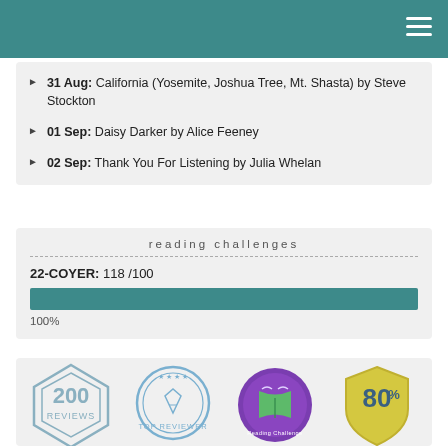31 Aug: California (Yosemite, Joshua Tree, Mt. Shasta) by Steve Stockton
01 Sep: Daisy Darker by Alice Feeney
02 Sep: Thank You For Listening by Julia Whelan
reading challenges
22-COYER: 118 /100
100%
[Figure (infographic): Four badges: 200 Reviews badge (diamond shape), Top Reviewer badge (circle with pen/star), Reading Challenge badge (purple circle with books), 80% badge (shield shape)]